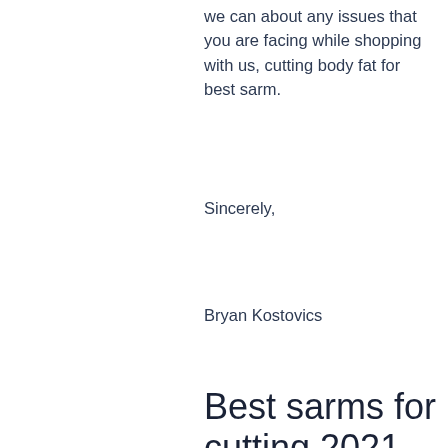we can about any issues that you are facing while shopping with us, cutting body fat for best sarm.
Sincerely,
Bryan Kostovics
Best sarms for cutting 2021
Stacking SARMs is one of the best ways to gain a ton of muscle mass, increase your lifting capacity, and start cutting down fat fast as hell.
To be completely honest, I use a couple of different bands, not only for training, but also